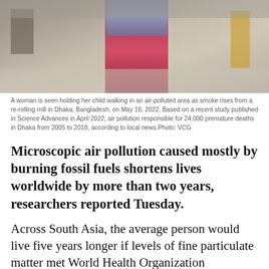[Figure (photo): A woman holding a child walking in an air-polluted, smoky area. Other figures visible in the hazy background. Smoke and smog fill the scene near a re-rolling mill in Dhaka, Bangladesh.]
A woman is seen holding her child walking in an air-polluted area as smoke rises from a re-rolling mill in Dhaka, Bangladesh, on May 16, 2022. Based on a recent study published in Science Advances in April 2022, air pollution responsible for 24,000 premature deaths in Dhaka from 2005 to 2018, according to local news.Photo: VCG
Microscopic air pollution caused mostly by burning fossil fuels shortens lives worldwide by more than two years, researchers reported Tuesday.
Across South Asia, the average person would live five years longer if levels of fine particulate matter met World Health Organization standards, according to a report from the University of Chicago's Energy Policy Institute.